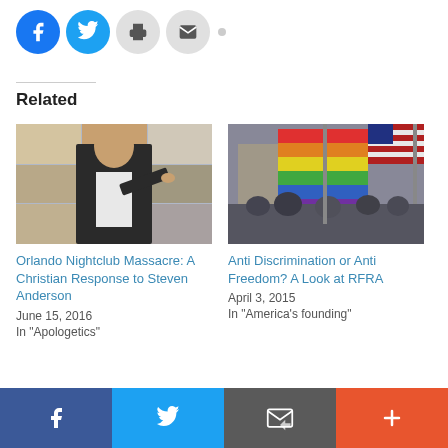[Figure (screenshot): Social share buttons: Facebook (blue circle), Twitter (blue circle), Print (gray circle), Email (gray circle), and a gray dot]
Related
[Figure (photo): Photo of a man in a suit gesturing at a podium with a grid of faces in the background]
Orlando Nightclub Massacre: A Christian Response to Steven Anderson
June 15, 2016
In "Apologetics"
[Figure (photo): Photo of a crowd holding rainbow/pride flags at what appears to be a protest or rally]
Anti Discrimination or Anti Freedom? A Look at RFRA
April 3, 2015
In "America's founding"
Facebook | Twitter | Email | More